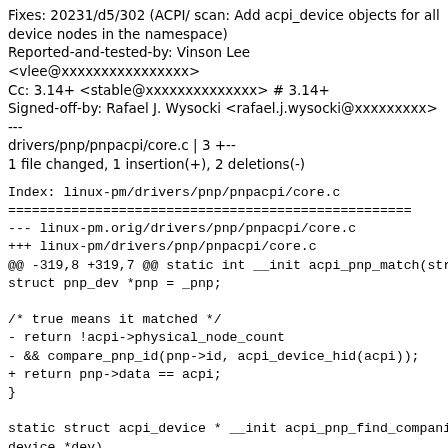Fixes: 20231/d5/302 (ACPI/ scan: Add acpi_device objects for all device nodes in the namespace)
Reported-and-tested-by: Vinson Lee <vlee@xxxxxxxxxxxxxxxx>
Cc: 3.14+ <stable@xxxxxxxxxxxxxx> # 3.14+
Signed-off-by: Rafael J. Wysocki <rafael.j.wysocki@xxxxxxxxx>
---
drivers/pnp/pnpacpi/core.c | 3 +--
1 file changed, 1 insertion(+), 2 deletions(-)
Index: linux-pm/drivers/pnp/pnpacpi/core.c
========================================
--- linux-pm.orig/drivers/pnp/pnpacpi/core.c
+++ linux-pm/drivers/pnp/pnpacpi/core.c
@@ -319,8 +319,7 @@ static int __init acpi_pnp_match(struct
struct pnp_dev *pnp = _pnp;

/* true means it matched */
- return !acpi->physical_node_count
- && compare_pnp_id(pnp->id, acpi_device_hid(acpi));
+ return pnp->data == acpi;
}

static struct acpi_device * __init acpi_pnp_find_companion(struct
device *dev)